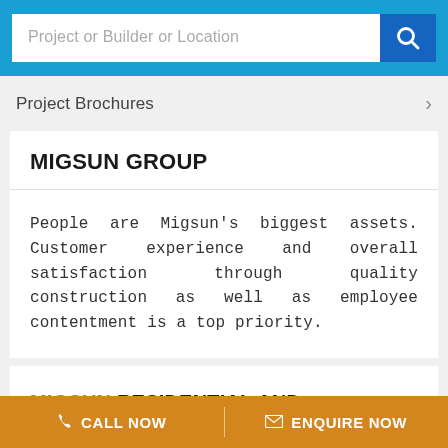[Figure (screenshot): Search bar with placeholder text 'Project or Builder or Location' and blue search button with magnifying glass icon]
Project Brochures >
MIGSUN GROUP
People are Migsun's biggest assets. Customer experience and overall satisfaction through quality construction as well as employee contentment is a top priority.
MIGSUN RESIDENTIAL AND COMMERCIAL PROJECTS
CALL NOW   ENQUIRE NOW